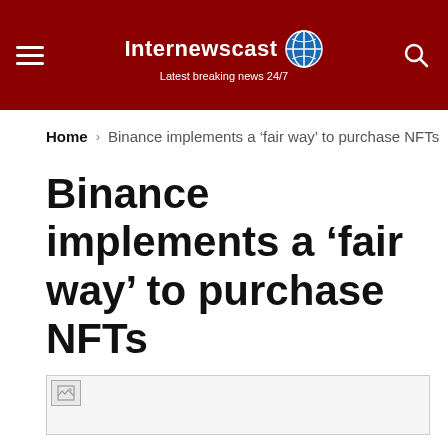Internewscast — Latest breaking news 24/7
Home > Binance implements a 'fair way' to purchase NFTs
Binance implements a 'fair way' to purchase NFTs
[Figure (photo): Broken image placeholder for article hero image]